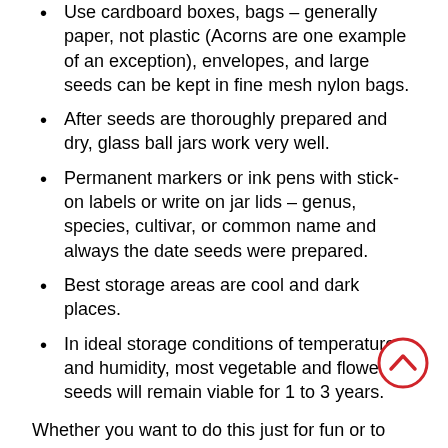Use cardboard boxes, bags – generally paper, not plastic (Acorns are one example of an exception), envelopes, and large seeds can be kept in fine mesh nylon bags.
After seeds are thoroughly prepared and dry, glass ball jars work very well.
Permanent markers or ink pens with stick-on labels or write on jar lids – genus, species, cultivar, or common name and always the date seeds were prepared.
Best storage areas are cool and dark places.
In ideal storage conditions of temperature and humidity, most vegetable and flower seeds will remain viable for 1 to 3 years.
Whether you want to do this just for fun or to save grandma's favorite heirloom tomato variety or track down and grow specific regionally important varieties, there's no question that preservation and dissemination of open-pollinated, heirloom plants and